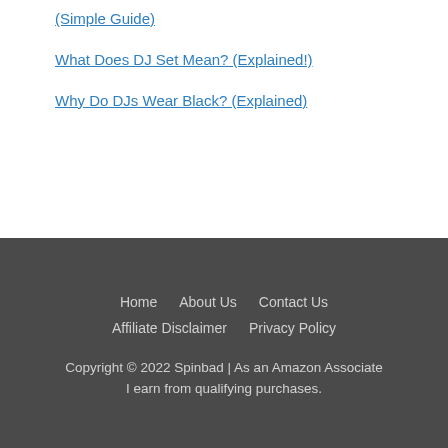(Simple Guide)
What Does DJ Set Mean? (Explained!)
Why Do DJs Wear Black? (Explained)
Home  About Us  Contact Us  Affiliate Disclaimer  Privacy Policy  Copyright © 2022 Spinbad | As an Amazon Associate I earn from qualifying purchases.